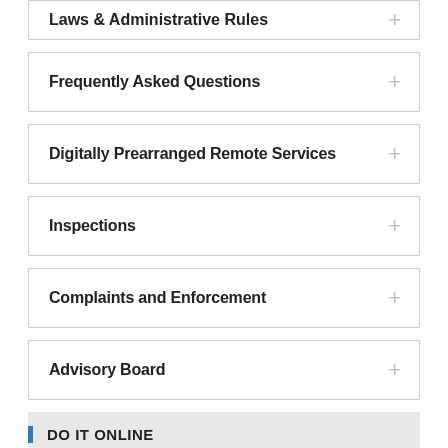Laws & Administrative Rules
Frequently Asked Questions
Digitally Prearranged Remote Services
Inspections
Complaints and Enforcement
Advisory Board
DO IT ONLINE
BARBER SCHOOLS
SHEARS